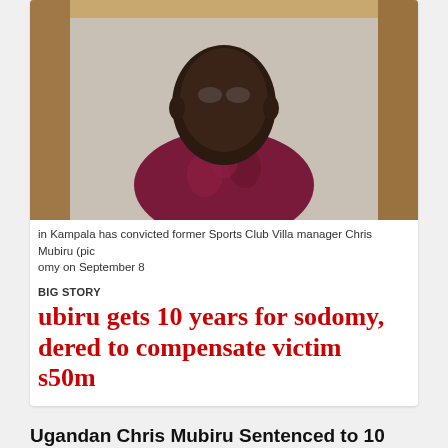[Figure (photo): Portrait photo of Chris Mubiru, a man in a patterned maroon/red shirt, against a wooden-framed background]
in Kampala has convicted former Sports Club Villa manager Chris Mubiru (pic omy on September 8
BIG STORY
ubiru gets 10 years for sodomy, dered to compensate victim s50m
Ugandan Chris Mubiru Sentenced to 10 years in Sodomy Case
September 18, 2015